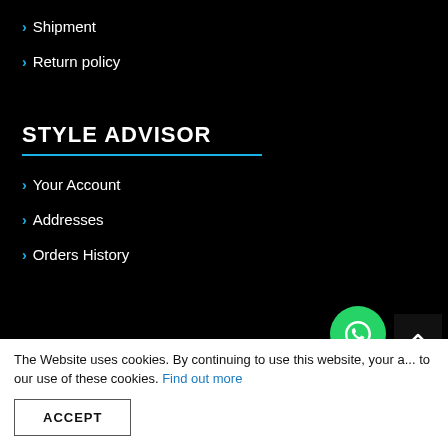> Shipment
> Return policy
STYLE ADVISOR
> Your Account
> Addresses
> Orders History
The Website uses cookies. By continuing to use this website, your ... our use of these cookies. Find out more
ACCEPT